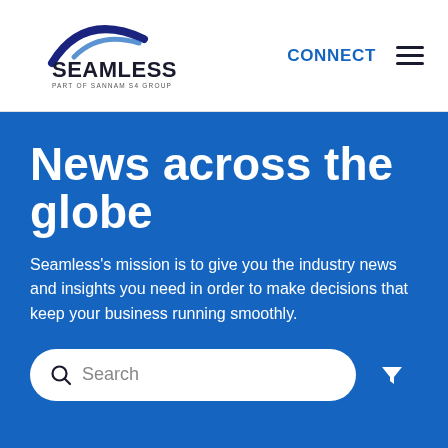[Figure (logo): Seamless logo - Part of Sannam S4 Group, with a dark blue arc swoosh above the text]
CONNECT
News across the globe
Seamless's mission is to give you the industry news and insights you need in order to make decisions that keep your business running smoothly.
Search